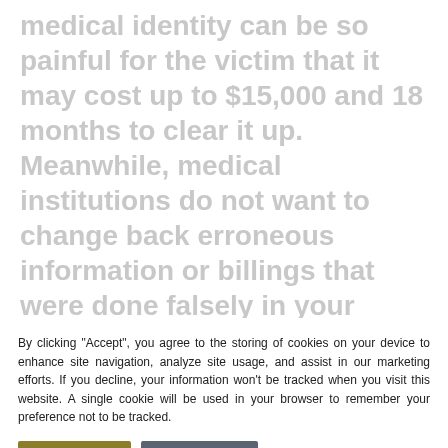medical identity can be so painful for the victim that it may cost up to $15,000 and 18 months to clear it up. Meanwhile, medical institutions do not want to change back erroneous information or billings that were done falsely in your name!. Your FICA score can take a big hit and you are left wondering which way to turn. Needless-to-say, protecting your medical identity is one of the most important functions that anyone involved in delivering medical care must
By clicking "Accept", you agree to the storing of cookies on your device to enhance site navigation, analyze site usage, and assist in our marketing efforts. If you decline, your information won't be tracked when you visit this website. A single cookie will be used in your browser to remember your preference not to be tracked.
website. If you continue to use this site we will assume that you are happy with it.